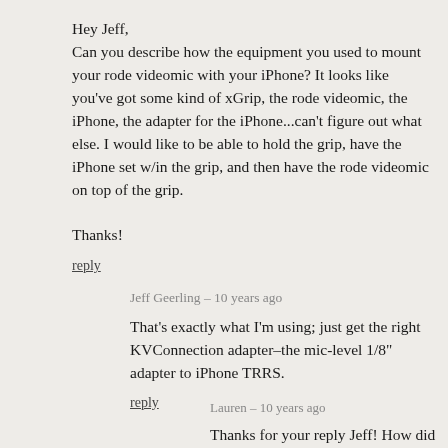Hey Jeff,
Can you describe how the equipment you used to mount your rode videomic with your iPhone? It looks like you've got some kind of xGrip, the rode videomic, the iPhone, the adapter for the iPhone...can't figure out what else. I would like to be able to hold the grip, have the iPhone set w/in the grip, and then have the rode videomic on top of the grip.
Thanks!
reply
Jeff Geerling – 10 years ago
That's exactly what I'm using; just get the right KVConnection adapter–the mic-level 1/8" adapter to iPhone TRRS.
reply
Lauren – 10 years ago
Thanks for your reply Jeff! How did you get your iPhone to sit stabilized in the xGrip. Looking at your video, it looks like you've got it in there pretty